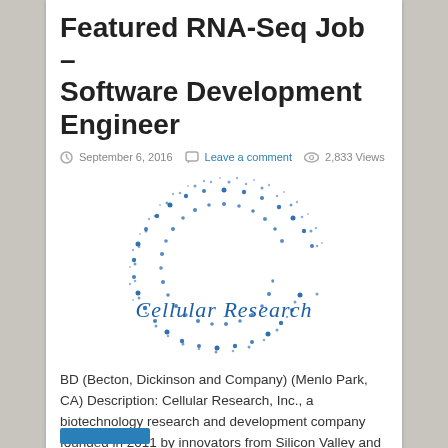Featured RNA-Seq Job – Software Development Engineer
September 6, 2016   Leave a comment   2,833 Views
[Figure (logo): Cellular Research logo — a blue dot-spiral letter C with 'Cellular Research' text in blue beneath]
BD (Becton, Dickinson and Company) (Menlo Park, CA) Description: Cellular Research, Inc., a biotechnology research and development company founded in 2011 by innovators from Silicon Valley and Stanford University, was recently acquired by Becton Dickinson and has become an integral ...